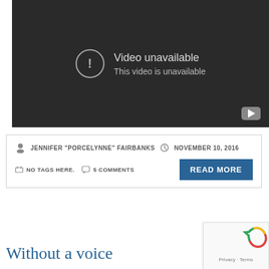[Figure (screenshot): YouTube embedded video player showing 'Video unavailable' error message with alert icon and YouTube logo button in bottom right]
JENNIFER "PORCELYNNE" FAIRBANKS   NOVEMBER 10, 2016   NO TAGS HERE.   5 COMMENTS
READ MORE
Without a voice